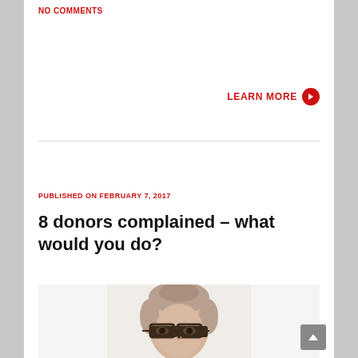NO COMMENTS
LEARN MORE ❯
PUBLISHED ON FEBRUARY 7, 2017
8 donors complained – what would you do?
[Figure (photo): Photo of a young woman with glasses and hair pulled back, looking forward against a white background]